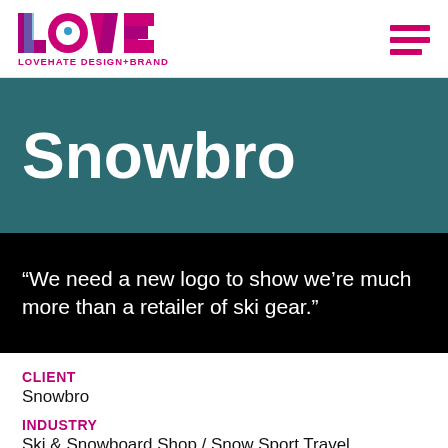LOVE LOVEHATE DESIGN+BRAND
Snowbro
“We need a new logo to show we’re much more than a retailer of ski gear.”
CLIENT
Snowbro
INDUSTRY
Ski & Snowboard Shop / Snow Sport Travel